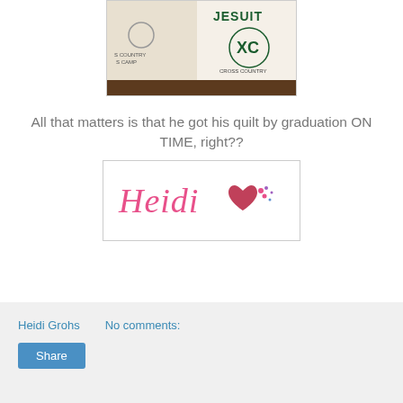[Figure (photo): Photo of a quilt featuring Jesuit XC (Cross Country) themed fabric panels with text and logos]
All that matters is that he got his quilt by graduation ON TIME, right??
[Figure (logo): Heidi Grohs signature logo with cursive 'Heidi' text in pink and a decorative heart/flower icon]
Heidi Grohs
No comments:
Share